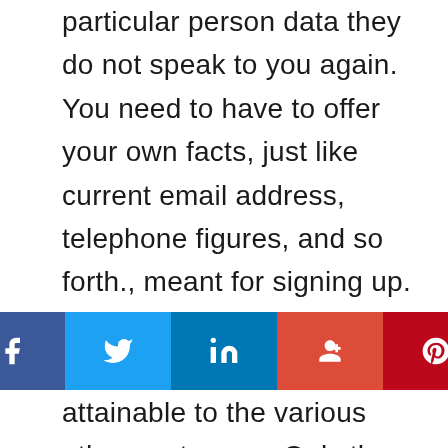particular person data they do not speak to you again. You need to have to offer your own facts, just like current email address, telephone figures, and so forth., meant for signing up. Nevertheless, this information will not be attainable to the various other customers. Only the owner and designer of the web-site will have usage of your information. You can earn pleasure in every single feature the platform needs to supply, and this tends to make the full course of action much easier.

While striving as a great deal of casual seeing apps while achievable could appear like a good concept, you http://hookuptime/ will just conclude wasting time with only let you are in neighborhood Sexfinder you may not have to have to comb by
[Figure (other): Social sharing bar with Facebook, Twitter, LinkedIn, Google+, and Pinterest buttons]